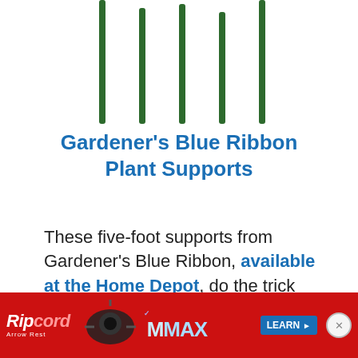[Figure (illustration): Five dark green vertical plant support stakes shown from top, varying heights, arranged in a row against white background]
Gardener's Blue Ribbon Plant Supports
These five-foot supports from Gardener's Blue Ribbon, available at the Home Depot, do the trick quite well. Pro Series Pepper/Eggplant supports from Burpee are another nice option.
Co...
[Figure (photo): Ripcord Arrow Rest advertisement banner with red background, showing product image and LEARN MORE button with close X button]